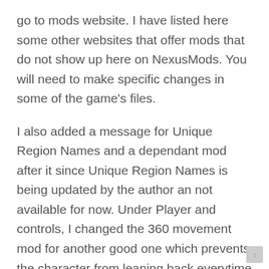go to mods website. I have listed here some other websites that offer mods that do not show up here on NexusMods. You will need to make specific changes in some of the game's files.
I also added a message for Unique Region Names and a dependant mod after it since Unique Region Names is being updated by the author an not available for now. Under Player and controls, I changed the 360 movement mod for another good one which prevents the character from leaning back everytime it stops. Finished reviewing the Clothes, armors and weapons in the GREEN section.